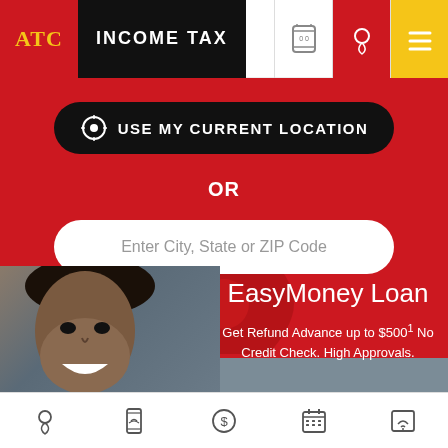[Figure (logo): ATC Income Tax logo with red background and yellow ATC text, followed by black background with white INCOME TAX text]
[Figure (screenshot): Rounded dark pill button with crosshair/location icon and text USE MY CURRENT LOCATION on red background]
OR
Enter City, State or ZIP Code
EasyMoney Loan
Get Refund Advance up to $500¹ No Credit Check. High Approvals.
[Figure (photo): Smiling Black woman with natural hair, grey brick wall background, for EasyMoney Loan section]
[Figure (infographic): Bottom navigation bar with 5 icons: location pin, mobile phone, dollar coin, calendar, wifi/signal icon]